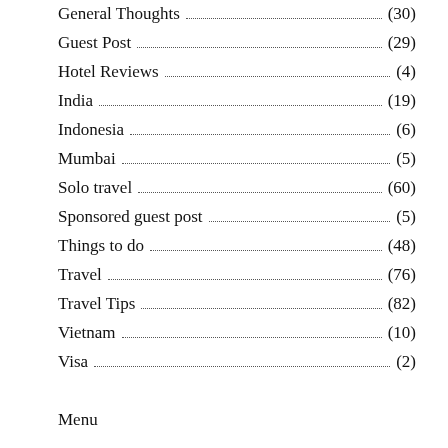General Thoughts (30)
Guest Post (29)
Hotel Reviews (4)
India (19)
Indonesia (6)
Mumbai (5)
Solo travel (60)
Sponsored guest post (5)
Things to do (48)
Travel (76)
Travel Tips (82)
Vietnam (10)
Visa (2)
Menu